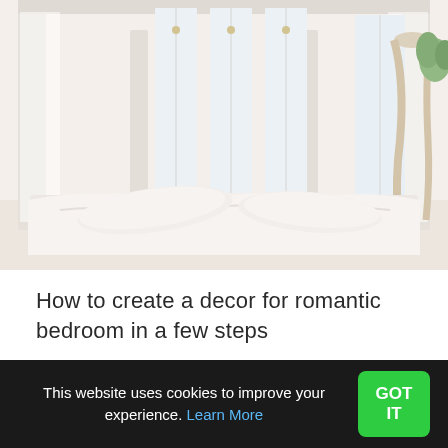[Figure (photo): A bright, airy romantic bedroom with a white canopy bed, white bedding with pillows, large windows with sheer white curtains, and a plant visible in the upper right corner.]
How to create a decor for romantic bedroom in a few steps
If you like cozy spaces, here you have many options to create a romantic bedroom, where from furniture, through textiles to accessories
This website uses cookies to improve your experience. Learn More  GOT IT